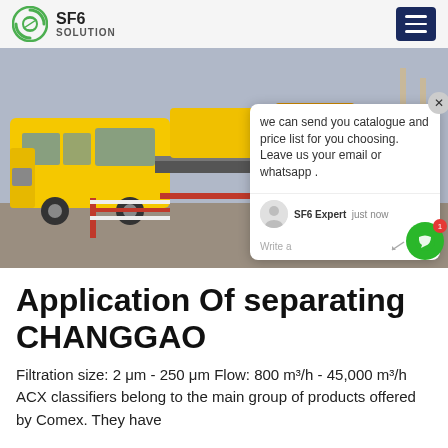SF6 SOLUTION
[Figure (photo): A yellow utility truck with SF6 gas handling equipment mounted on the flatbed, photographed at an industrial/substation site. A chat popup overlay is visible in the bottom-right corner of the image.]
Application Of separating CHANGGAO
Filtration size: 2 μm - 250 μm Flow: 800 m³/h - 45,000 m³/h ACX classifiers belong to the main group of products offered by Comex. They have